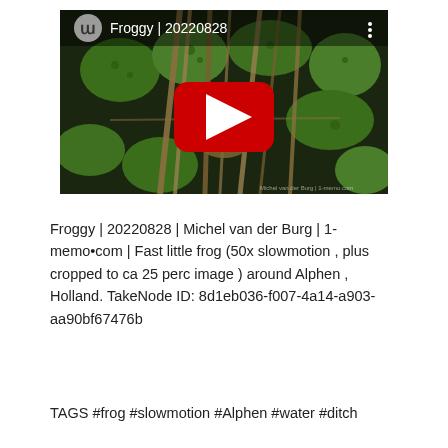[Figure (screenshot): YouTube video thumbnail showing a frog in a pond with lily pads and grass stems. The video title reads 'Froggy | 20220828' with a channel logo (stylized 'm' in a circle) on the top left, a YouTube play button (red rectangle with white triangle) in the center, and a three-dot menu icon on the top right.]
Froggy | 20220828 | Michel van der Burg | 1-memo•com | Fast little frog (50x slowmotion , plus cropped to ca 25 perc image ) around Alphen , Holland. TakeNode ID: 8d1eb036-f007-4a14-a903-aa90bf67476b
TAGS #frog #slowmotion #Alphen #water #ditch